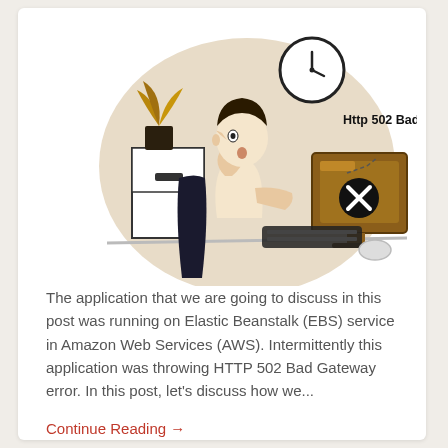[Figure (illustration): Illustration of a person sitting at a desk looking stressed at a computer monitor showing an error (X icon), with text 'Http 502 Bad Gateway!' displayed near the monitor. Office setting with filing cabinet, plant, and clock in background. Beige/tan color scheme.]
The application that we are going to discuss in this post was running on Elastic Beanstalk (EBS) service in Amazon Web Services (AWS). Intermittently this application was throwing HTTP 502 Bad Gateway error. In this post, let's discuss how we...
Continue Reading →